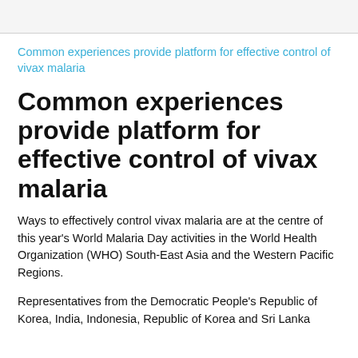Common experiences provide platform for effective control of vivax malaria
Common experiences provide platform for effective control of vivax malaria
Ways to effectively control vivax malaria are at the centre of this year's World Malaria Day activities in the World Health Organization (WHO) South-East Asia and the Western Pacific Regions.
Representatives from the Democratic People's Republic of Korea, India, Indonesia, Republic of Korea and Sri Lanka